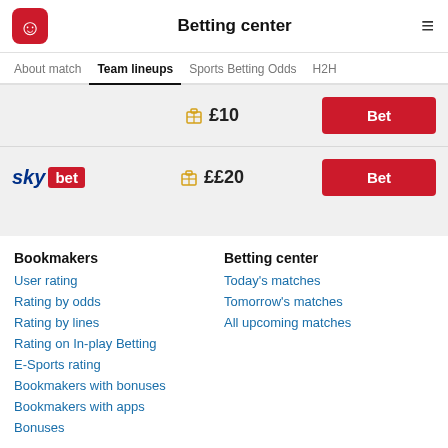Betting center
About match  Team lineups  Sports Betting Odds  H2H
£10  Bet
[Figure (logo): Sky Bet logo]
££20  Bet
Bookmakers
User rating
Rating by odds
Rating by lines
Rating on In-play Betting
E-Sports rating
Bookmakers with bonuses
Bookmakers with apps
Bonuses
Betting center
Today's matches
Tomorrow's matches
All upcoming matches